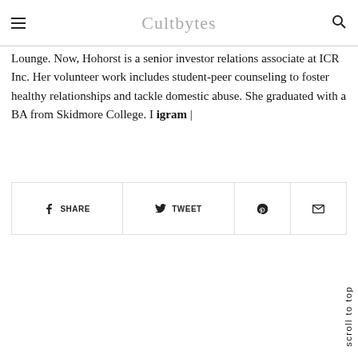Cultbytes
Lounge. Now, Hohorst is a senior investor relations associate at ICR Inc. Her volunteer work includes student-peer counseling to foster healthy relationships and tackle domestic abuse. She graduated with a BA from Skidmore College. I igram |
[Figure (other): Social sharing bar with Facebook Share, Twitter Tweet, Pinterest, and Email buttons]
scroll to top